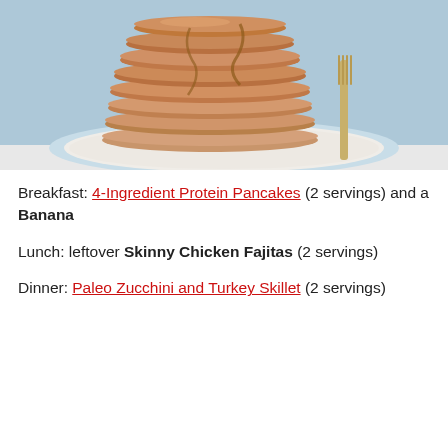[Figure (photo): Stack of protein pancakes on a white plate with syrup drizzled over, a fork on the right side, light blue background]
Breakfast: 4-Ingredient Protein Pancakes (2 servings) and a Banana
Lunch: leftover Skinny Chicken Fajitas (2 servings)
Dinner: Paleo Zucchini and Turkey Skillet (2 servings)